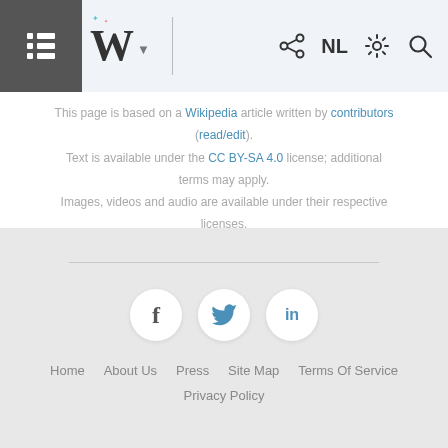Wikipedia mobile app header with logo, NL, share, settings, search icons
This page is based on a Wikipedia article written by contributors (read/edit). Text is available under the CC BY-SA 4.0 license; additional terms may apply. Images, videos and audio are available under their respective licenses. Cover photo is available under CC BY-SA 4.0 license. Credit: Stefan Brending (2eight) (see original file).
Home  About Us  Press  Site Map  Terms Of Service  Privacy Policy